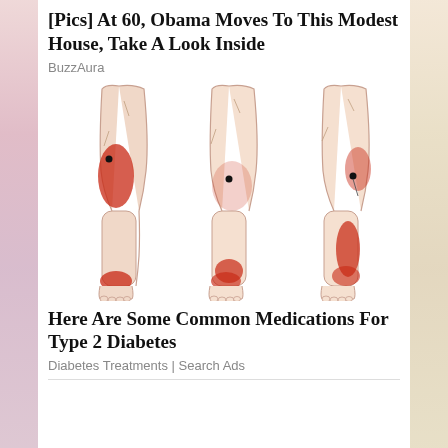[Pics] At 60, Obama Moves To This Modest House, Take A Look Inside
BuzzAura
[Figure (illustration): Three illustrated human legs showing pain points highlighted in red: left leg with large red area on calf and foot, middle leg with red at ankle/foot area, right leg with red on outer calf and ankle area. Each has a black dot indicating trigger point.]
Here Are Some Common Medications For Type 2 Diabetes
Diabetes Treatments | Search Ads